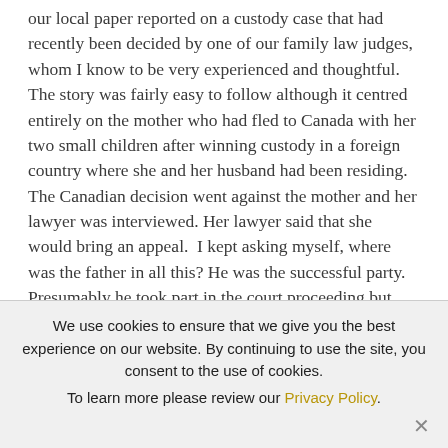our local paper reported on a custody case that had recently been decided by one of our family law judges, whom I know to be very experienced and thoughtful. The story was fairly easy to follow although it centred entirely on the mother who had fled to Canada with her two small children after winning custody in a foreign country where she and her husband had been residing. The Canadian decision went against the mother and her lawyer was interviewed. Her lawyer said that she would bring an appeal. I kept asking myself, where was the father in all this? He was the successful party. Presumably he took part in the court proceeding but there is no mention of him or his lawyer (if he even had a lawyer) being present or asked to comment.

I'm not writing about the decision itself or the topic of custody. I have mentioned the decision because
We use cookies to ensure that we give you the best experience on our website. By continuing to use the site, you consent to the use of cookies.
To learn more please review our Privacy Policy.